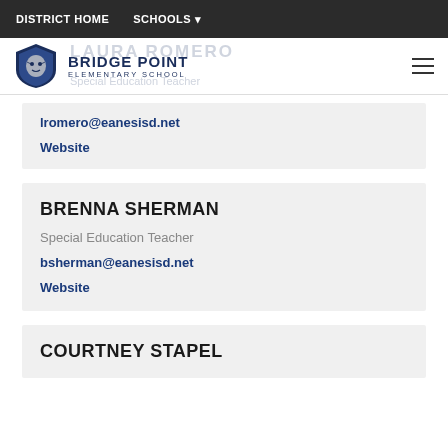DISTRICT HOME | SCHOOLS
BRIDGE POINT ELEMENTARY SCHOOL
LAURA ROMERO
Special Education Teacher
lromero@eanesisd.net
Website
BRENNA SHERMAN
Special Education Teacher
bsherman@eanesisd.net
Website
COURTNEY STAPEL